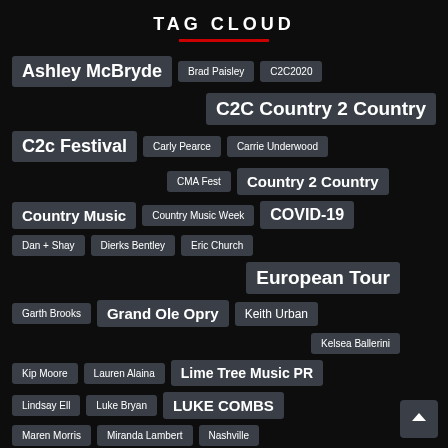TAG CLOUD
Ashley McBryde
Brad Paisley
C2C2020
C2C Country 2 Country
C2c Festival
Carly Pearce
Carrie Underwood
CMA Fest
Country 2 Country
Country Music
Country Music Week
COVID-19
Dan + Shay
Dierks Bentley
Eric Church
European Tour
Garth Brooks
Grand Ole Opry
Keith Urban
Kelsea Ballerini
Kip Moore
Lauren Alaina
Lime Tree Music PR
Lindsay Ell
Luke Bryan
LUKE COMBS
Maren Morris
Miranda Lambert
Nashville